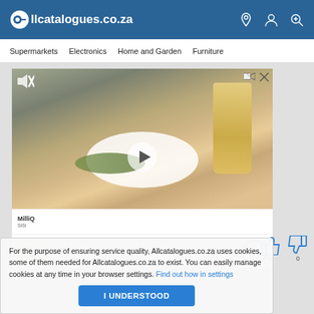Allcatalogues.co.za
Supermarkets
Electronics
Home and Garden
Furniture
[Figure (screenshot): Video advertisement showing a bowl of fried food with a glass of beer in the background, with a play button overlay]
[Figure (logo): Small brand logo text]
[Figure (map): Small map thumbnail with red location pin]
For the purpose of ensuring service quality, Allcatalogues.co.za uses cookies, some of them needed for Allcatalogues.co.za to exist. You can easily manage cookies at any time in your browser settings. Find out how in settings
I UNDERSTOOD